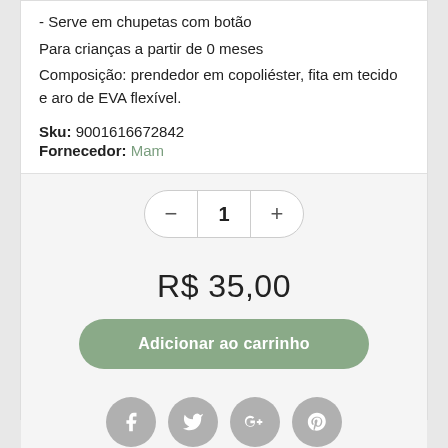- Serve em chupetas com botão
Para crianças a partir de 0 meses
Composição: prendedor em copoliéster, fita em tecido e aro de EVA flexível.
Sku: 9001616672842
Fornecedor: Mam
[Figure (other): Quantity selector with minus button, number 1, and plus button]
R$ 35,00
Adicionar ao carrinho
[Figure (other): Social sharing icons: Facebook, Twitter, Google+, Pinterest]